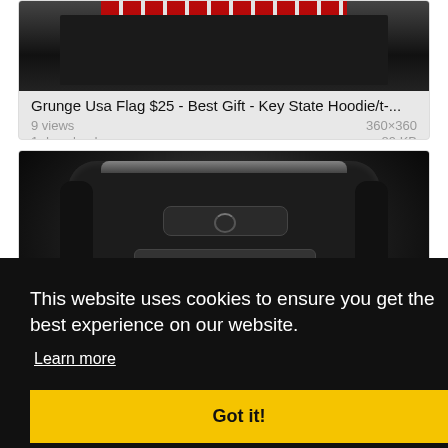[Figure (photo): Partially visible image of a black hoodie/t-shirt at top of page]
Grunge Usa Flag $25 - Best Gift - Key State Hoodie/t-...
9 views   360×360
1 downloads   89 KB
[Figure (photo): Close-up photo of a black car key fob remote control]
This website uses cookies to ensure you get the best experience on our website.
Learn more
Got it!
7 views   280×607